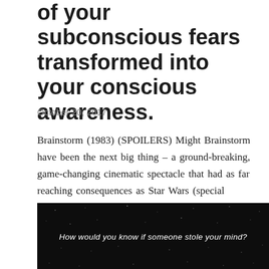of your subconscious fears transformed into your conscious awareness.
October 20, 2017
Brainstorm (1983) (SPOILERS) Might Brainstorm have been the next big thing – a ground-breaking, game-changing cinematic spectacle that had as far reaching consequences as Star Wars (special effects) or Avatar (3D) – if only ...
SHARE
READ MORE
[Figure (screenshot): Dark background with stars and white italic text reading: How would you know if someone stole your mind?]